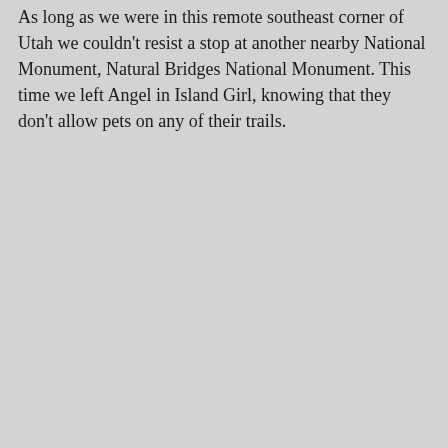As long as we were in this remote southeast corner of Utah we couldn't resist a stop at another nearby National Monument, Natural Bridges National Monument. This time we left Angel in Island Girl, knowing that they don't allow pets on any of their trails.